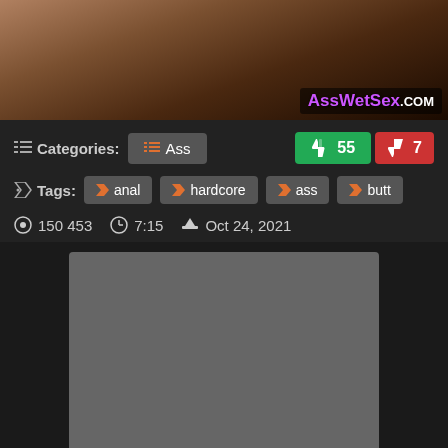[Figure (photo): Top banner image showing dark-skinned figures on white bedding, with a watermark logo 'AssWetSex.com' in the bottom-right corner]
Categories: Ass
👍 55  👎 7
Tags: anal  hardcore  ass  butt
👁 150 453   🕐 7:15   ⬆ Oct 24, 2021
[Figure (other): Gray placeholder rectangle representing a video player area]